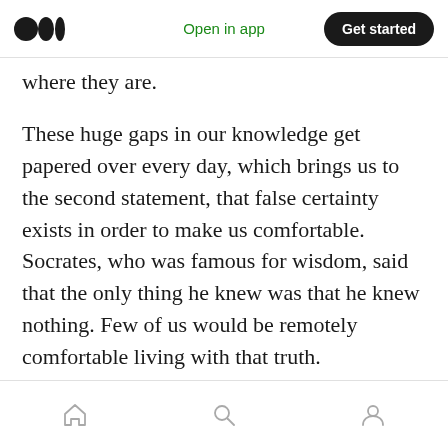Open in app | Get started
where they are.
These huge gaps in our knowledge get papered over every day, which brings us to the second statement, that false certainty exists in order to make us comfortable. Socrates, who was famous for wisdom, said that the only thing he knew was that he knew nothing. Few of us would be remotely comfortable living with that truth.
Once you have decided to be comfortable with false certainty, you agree to live a collective lie, or shared illusion. This illusion consists of the
Home | Search | Profile